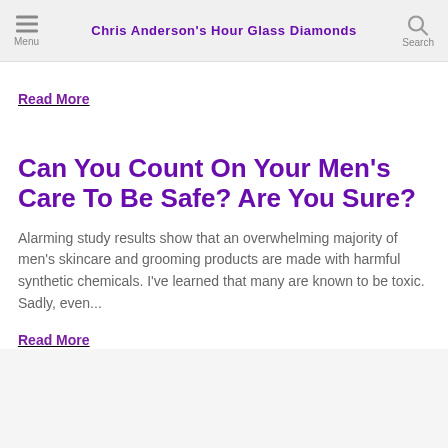Chris Anderson's Hour Glass Diamonds
Read More
Can You Count On Your Men's Care To Be Safe? Are You Sure?
Alarming study results show that an overwhelming majority of men's skincare and grooming products are made with harmful synthetic chemicals. I've learned that many are known to be toxic. Sadly, even...
Read More